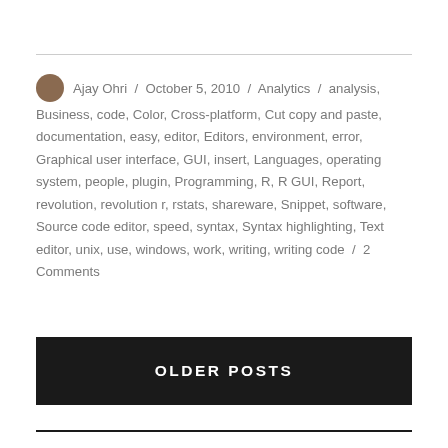Ajay Ohri / October 5, 2010 / Analytics / analysis, Business, code, Color, Cross-platform, Cut copy and paste, documentation, easy, editor, Editors, environment, error, Graphical user interface, GUI, insert, Languages, operating system, people, plugin, Programming, R, R GUI, Report, revolution, revolution r, rstats, shareware, Snippet, software, Source code editor, speed, syntax, Syntax highlighting, Text editor, unix, use, windows, work, writing, writing code / 2 Comments
OLDER POSTS